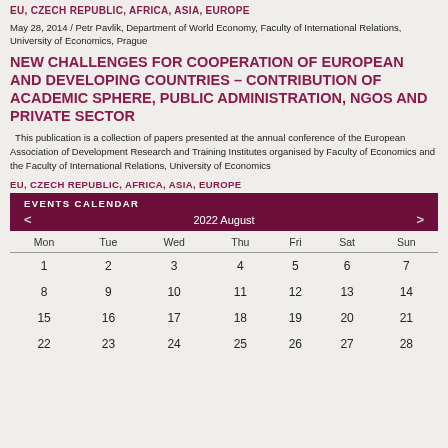EU, CZECH REPUBLIC, AFRICA, ASIA, EUROPE
May 28, 2014 / Petr Pavlik, Department of World Economy, Faculty of International Relations, University of Economics, Prague
NEW CHALLENGES FOR COOPERATION OF EUROPEAN AND DEVELOPING COUNTRIES – CONTRIBUTION OF ACADEMIC SPHERE, PUBLIC ADMINISTRATION, NGOS AND PRIVATE SECTOR
This publication is a collection of papers presented at the annual conference of the European Association of Development Research and Training Institutes organised by Faculty of Economics and the Faculty of International Relations, University of Economics
EU, CZECH REPUBLIC, AFRICA, ASIA, EUROPE
| Mon | Tue | Wed | Thu | Fri | Sat | Sun |
| --- | --- | --- | --- | --- | --- | --- |
| 1 | 2 | 3 | 4 | 5 | 6 | 7 |
| 8 | 9 | 10 | 11 | 12 | 13 | 14 |
| 15 | 16 | 17 | 18 | 19 | 20 | 21 |
| 22 | 23 | 24 | 25 | 26 | 27 | 28 |